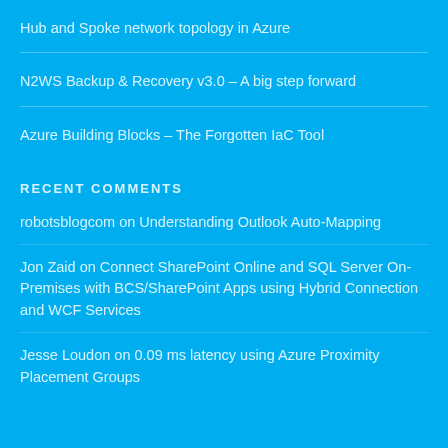Hub and Spoke network topology in Azure
N2WS Backup & Recovery v3.0 – A big step forward
Azure Building Blocks – The Forgotten IaC Tool
RECENT COMMENTS
robotsblogcom on Understanding Outlook Auto-Mapping
Jon Zaid on Connect SharePoint Online and SQL Server On-Premises with BCS/SharePoint Apps using Hybrid Connection and WCF Services
Jesse Loudon on 0.09 ms latency using Azure Proximity Placement Groups